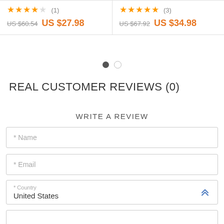[Figure (screenshot): Two product cards side by side. Left card: 4-star rating (1 review), original price US $60.54 struck through, sale price US $27.98 in orange. Right card: 5-star rating (3 reviews), original price US $67.92 struck through, sale price US $34.98 in orange.]
[Figure (other): Carousel pagination dots: one filled dark dot and one empty circle dot]
REAL CUSTOMER REVIEWS (0)
WRITE A REVIEW
* Name
* Email
* Country
United States